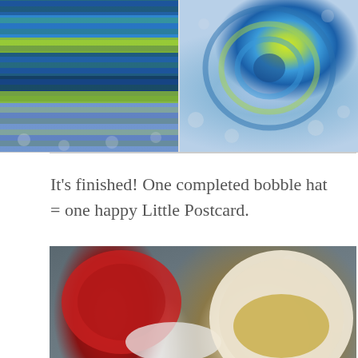[Figure (photo): Two photos side by side of a completed crocheted bobble hat in blue, green, and yellow stripes, laid on a grey polka-dot fabric background. Left photo shows the side/brim view; right photo shows the top/crown view.]
It's finished! One completed bobble hat = one happy Little Postcard.
[Figure (photo): Photo of a white mug of tea/coffee next to a red skein of yarn and white fluffy yarn, placed on a grey polka-dot fabric surface.]